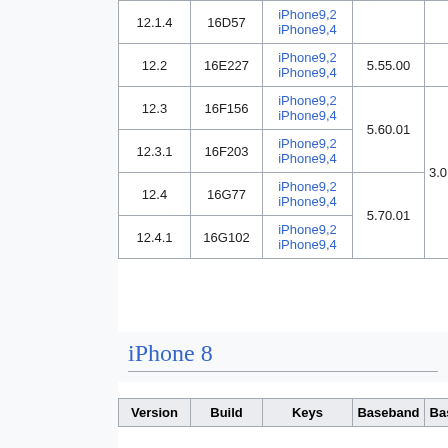| Version | Build | Keys | Baseband | Bas... |
| --- | --- | --- | --- | --- |
| 12.1.4 | 16D57 | iPhone9,2
iPhone9,4 |  |  |
| 12.2 | 16E227 | iPhone9,2
iPhone9,4 | 5.55.00 |  |
| 12.3 | 16F156 | iPhone9,2
iPhone9,4 | 5.60.01 | 3.0 |
| 12.3.1 | 16F203 | iPhone9,2
iPhone9,4 | 5.60.01 | 3.0 |
| 12.4 | 16G77 | iPhone9,2
iPhone9,4 | 5.70.01 |  |
| 12.4.1 | 16G102 | iPhone9,2
iPhone9,4 | 5.70.01 |  |
iPhone 8
| Version | Build | Keys | Baseband | Bas... |
| --- | --- | --- | --- | --- |